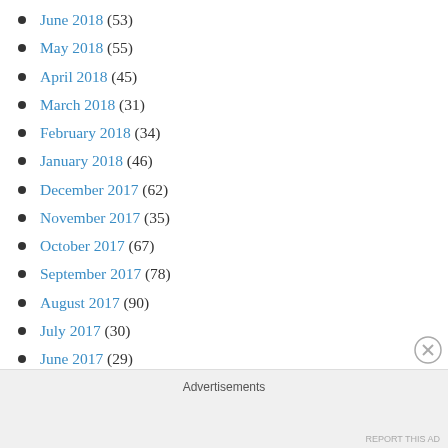June 2018 (53)
May 2018 (55)
April 2018 (45)
March 2018 (31)
February 2018 (34)
January 2018 (46)
December 2017 (62)
November 2017 (35)
October 2017 (67)
September 2017 (78)
August 2017 (90)
July 2017 (30)
June 2017 (29)
Advertisements